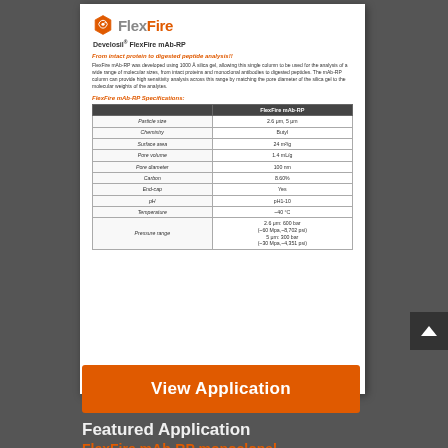[Figure (illustration): FlexFire logo with hexagonal emblem in orange and grey/orange text]
Develosil® FlexFire mAb-RP
From intact protein to digested peptide analysis!!
FlexFire mAb-RP was developed using 1000 Å silica gel, allowing this single column to be used for the analysis of a wide range of molecular sizes, from intact proteins and monoclonal antibodies to digested peptides. The mAb-RP column can provide high sensitivity analysis across this range by matching the pore diameter of the silica gel to the molecular weights of the analytes.
FlexFire mAb-RP Specifications:
|  | FlexFire mAb-RP |
| --- | --- |
| Particle size | 2.6 μm, 5 μm |
| Chemistry | Butyl |
| Surface area | 24 m²/g |
| Pore volume | 1.4 mL/g |
| Pore diameter | 100 nm |
| Carbon | 8.60% |
| End-cap | Yes |
| pH | pH1-10 |
| Temperature | ~40 °C |
| Pressure range | 2.6 μm: 600 bar (~60 Mpa,~8,702 psi)
5 μm: 300 bar (~30 Mpa,~4,351 psi) |
View Application
Featured Application
FlexFire mAb-RP monoclonal